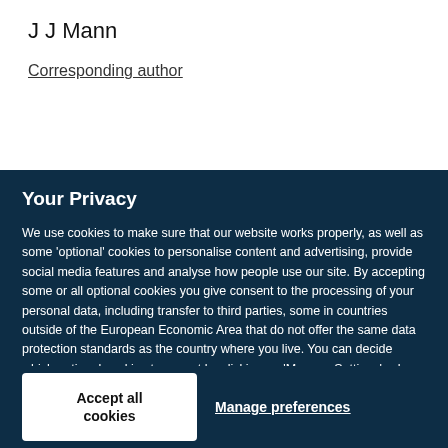J J Mann
Corresponding author
Your Privacy
We use cookies to make sure that our website works properly, as well as some ‘optional’ cookies to personalise content and advertising, provide social media features and analyse how people use our site. By accepting some or all optional cookies you give consent to the processing of your personal data, including transfer to third parties, some in countries outside of the European Economic Area that do not offer the same data protection standards as the country where you live. You can decide which optional cookies to accept by clicking on ‘Manage Settings’, where you can also find more information about how your personal data is processed. Further information can be found in our privacy policy.
Accept all cookies
Manage preferences